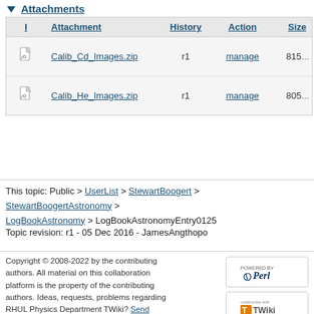Attachments
| I | Attachment | History | Action | Size |
| --- | --- | --- | --- | --- |
| [icon] | Calib_Cd_Images.zip | r1 | manage | 815… |
| [icon] | Calib_He_Images.zip | r1 | manage | 805… |
This topic: Public > UserList > StewartBoogert > StewartBoogertAstronomy > LogBookAstronomy > LogBookAstronomyEntry0125
Topic revision: r1 - 05 Dec 2016 - JamesAngthopo
Copyright © 2008-2022 by the contributing authors. All material on this collaboration platform is the property of the contributing authors. Ideas, requests, problems regarding RHUL Physics Department TWiki? Send feedback